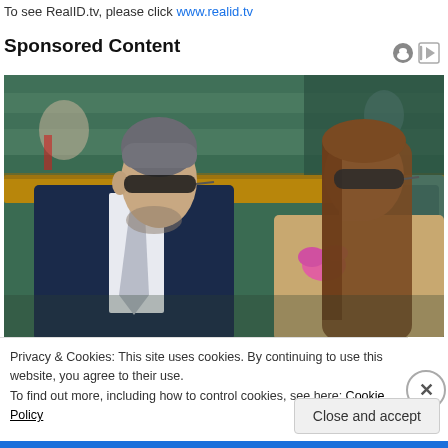To see RealID.tv, please click www.realid.tv
Sponsored Content
[Figure (photo): Two people sitting in stadium seating. A man in a dark navy suit with a light tie wearing sunglasses is on the left, and a woman with long brown hair wearing sunglasses and a floral top is on the right. Green seats are visible in the background.]
Privacy & Cookies: This site uses cookies. By continuing to use this website, you agree to their use.
To find out more, including how to control cookies, see here: Cookie Policy
Close and accept